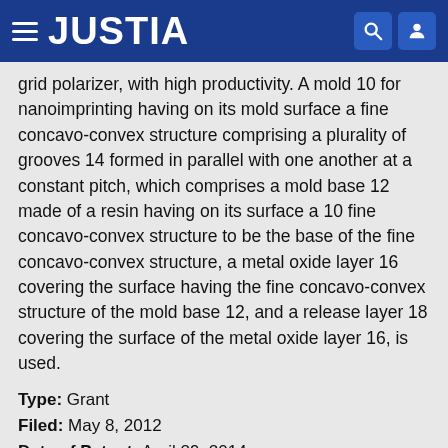JUSTIA
grid polarizer, with high productivity. A mold 10 for nanoimprinting having on its mold surface a fine concavo-convex structure comprising a plurality of grooves 14 formed in parallel with one another at a constant pitch, which comprises a mold base 12 made of a resin having on its surface a 10 fine concavo-convex structure to be the base of the fine concavo-convex structure, a metal oxide layer 16 covering the surface having the fine concavo-convex structure of the mold base 12, and a release layer 18 covering the surface of the metal oxide layer 16, is used.
Type: Grant
Filed: May 8, 2012
Date of Patent: April 29, 2014
Assignee: Asahi Glass Company, Limited
Inventors: Yuriko Kaida, Hiroshi Sakamoto, Takahira Miyagi, Kosuke Takayama, Fiji Shidoji